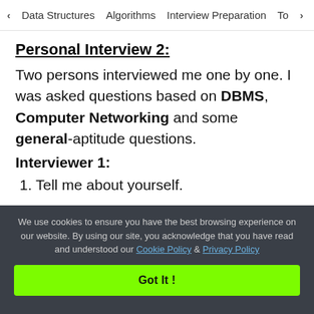< Data Structures  Algorithms  Interview Preparation  To>
Personal Interview 2:
Two persons interviewed me one by one. I was asked questions based on DBMS, Computer Networking and some general-aptitude questions.
Interviewer 1:
1. Tell me about yourself.
2. Why Arcesium?
We use cookies to ensure you have the best browsing experience on our website. By using our site, you acknowledge that you have read and understood our Cookie Policy & Privacy Policy  Got It !